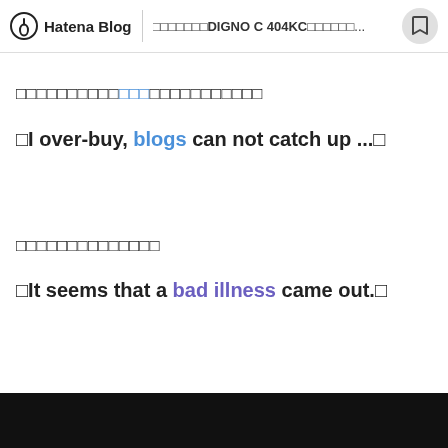Hatena Blog | □□□□□□□DIGNO C 404KC□□□□□□...
□□□□□□□□□□□□□□□□□□□□□□□□
□I over-buy, blogs can not catch up ...□
□□□□□□□□□□□□□□
□It seems that a bad illness came out.□